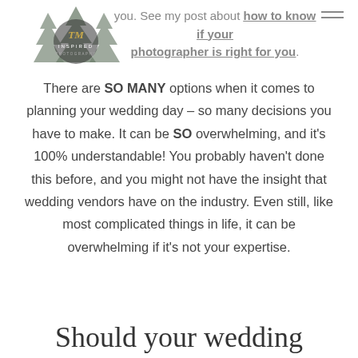you. See my post about how to know if your photographer is right for you.
[Figure (logo): TM Inspired Photography logo with pine trees silhouette and golden script lettering]
There are SO MANY options when it comes to planning your wedding day – so many decisions you have to make. It can be SO overwhelming, and it's 100% understandable! You probably haven't done this before, and you might not have the insight that wedding vendors have on the industry. Even still, like most complicated things in life, it can be overwhelming if it's not your expertise.
Should your wedding